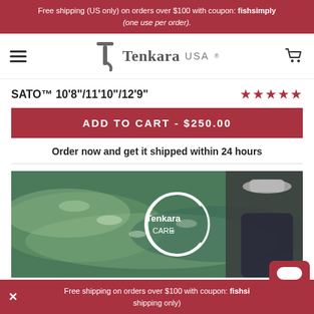Free shipping (US only) on orders over $100 with coupon: fishsimply (one use per order).
[Figure (logo): Tenkara USA logo with hamburger menu and cart icon]
SATO™ 10'8"/11'10"/12'9"
★★★★★ (5 stars)
ADD TO CART - $250.00
Order now and get it shipped within 24 hours
[Figure (photo): Person fishing in a stream with Tenkara CARE logo overlay]
Free shipping on orders over $100 with coupon: fishsi... shipping only)